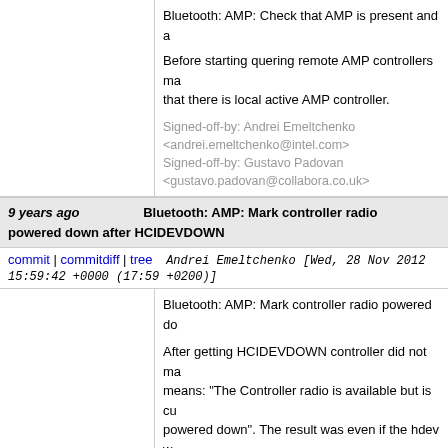Bluetooth: AMP: Check that AMP is present and a...
Before starting quering remote AMP controllers ma... that there is local active AMP controller.
Signed-off-by: Andrei Emeltchenko <andrei.emeltchenko@intel.com>
Signed-off-by: Gustavo Padovan <gustavo.padovan@collabora.co.uk>
9 years ago   Bluetooth: AMP: Mark controller radio powered down after HCIDEVDOWN
commit | commitdiff | tree   Andrei Emeltchenko [Wed, 28 Nov 2012 15:59:42 +0000 (17:59 +0200)]
Bluetooth: AMP: Mark controller radio powered do...
After getting HCIDEVDOWN controller did not ma... means: "The Controller radio is available but is cu... powered down". The result was even if the hdev w... in controller list value 0x01 "status 0x01 (Bluetoot...
Signed-off-by: Andrei Emeltchenko <andrei.emeltchenko@intel.com>
Signed-off-by: Gustavo Padovan <gustavo.padovan@collabora.co.uk>
9 years ago   Bluetooth: Refactor l2cap_send_disconn_req